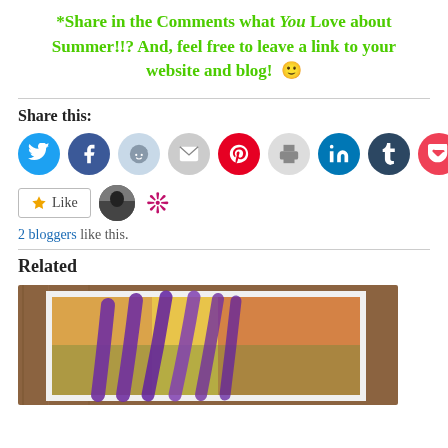*Share in the Comments what You Love about Summer!!? And, feel free to leave a link to your website and blog! 🙂
Share this:
[Figure (infographic): Row of social media share icon circles: Twitter (blue), Facebook (blue), Reddit (light blue/grey), Email (grey), Pinterest (red), Print (light grey), LinkedIn (blue), Tumblr (dark navy), Pocket (red/pink)]
[Figure (infographic): WordPress Like button with star icon, followed by two blogger avatar thumbnails (a dark silhouette photo and a decorative pattern avatar)]
2 bloggers like this.
Related
[Figure (photo): A colorful artwork/quilt showing purple curved shapes resembling feathers or leaves on a multi-colored background, displayed in a white mat frame on a wooden surface.]